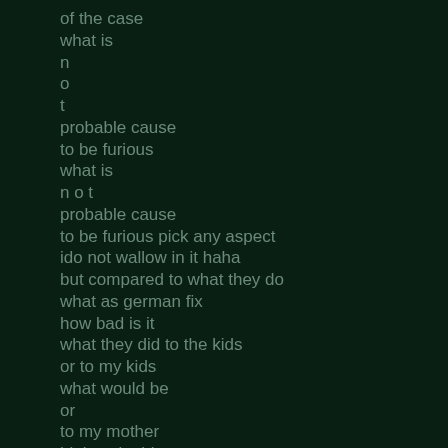of the case
what is
n
o
t
probable cause
to be furious
what is
n o t
probable cause
to be furious pick any aspect
ido not wallow in it haha
but compared to what they do
what as german fix
how bad is it
what they did to the kids
or to my kids
what would be
or
to my mother
biology in this case
pick my worst